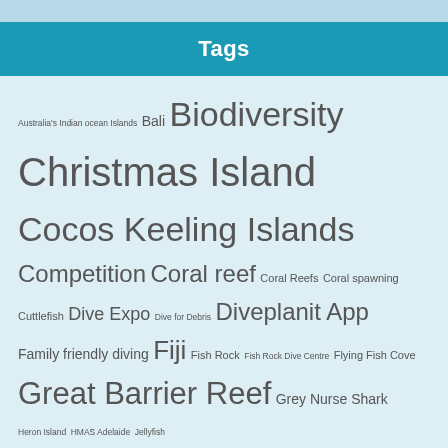Tags
Australia's Indian ocean Islands Bali Biodiversity Christmas Island Cocos Keeling Islands Competition Coral reef Coral Reefs Coral spawning Cuttlefish Dive Expo Dive for Debris Diveplanit App Family friendly diving Fiji Fish Rock Fish Rock Dive Centre Flying Fish Cove Great Barrier Reef Grey Nurse Shark Heron Island HMAS Adelaide Jellyfish Lady Elliot Island Lionfish Lord Howe Island Manta ray Marine conservation Marine environment NSW Nusa Penida Ocean Film Festival Ocean Plastic Octopus Passions Of Paradise Queensland Shark shark attack Shark Cull Snorkeling South Solitaries South West Rocks Underwater Photography Whale shark